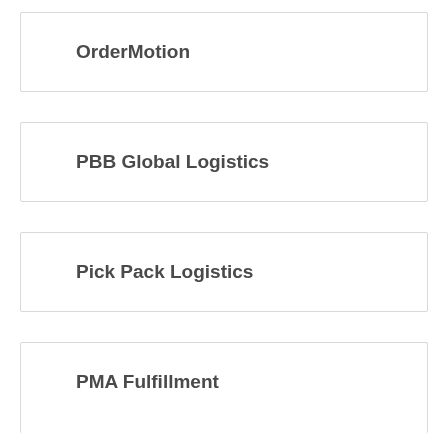OrderMotion
PBB Global Logistics
Pick Pack Logistics
PMA Fulfillment